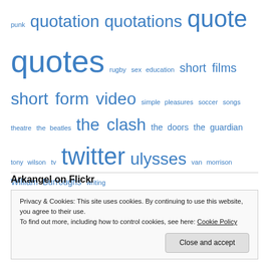punk quotation quotations quote quotes rugby sex education short films short form video simple pleasures soccer songs theatre the beatles the clash the doors the guardian tony wilson tv twitter ulysses van morrison William Burroughs writing writing process
Arkangel on Flickr
Privacy & Cookies: This site uses cookies. By continuing to use this website, you agree to their use.
To find out more, including how to control cookies, see here: Cookie Policy
Close and accept